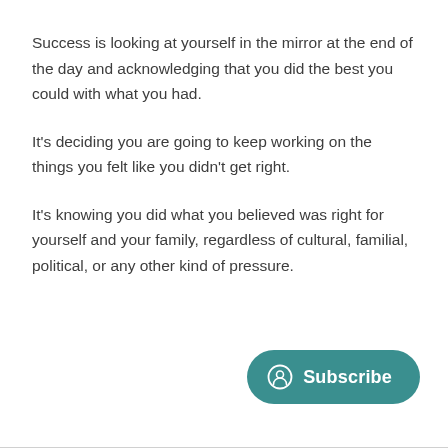Success is looking at yourself in the mirror at the end of the day and acknowledging that you did the best you could with what you had.
It's deciding you are going to keep working on the things you felt like you didn't get right.
It's knowing you did what you believed was right for yourself and your family, regardless of cultural, familial, political, or any other kind of pressure.